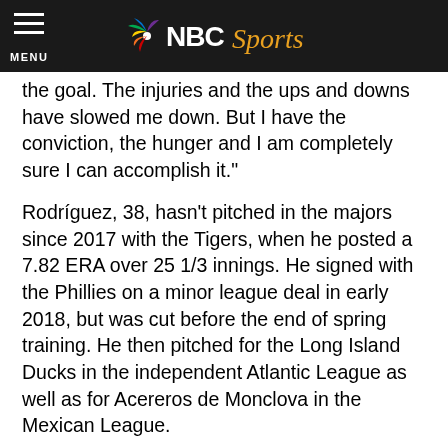NBC Sports
the goal. The injuries and the ups and downs have slowed me down. But I have the conviction, the hunger and I am completely sure I can accomplish it."
Rodríguez, 38, hasn't pitched in the majors since 2017 with the Tigers, when he posted a 7.82 ERA over 25 1/3 innings. He signed with the Phillies on a minor league deal in early 2018, but was cut before the end of spring training. He then pitched for the Long Island Ducks in the independent Atlantic League as well as for Acereros de Monclova in the Mexican League.
On MLB's all-time saves leaderboard, Rodríguez ranks fourth with 437. He trails Mariano Rivera (652), Trevor Hoffman (601), and Lee Smith (478). It seems reasonable to assume that, even if Rodríguez were to make it back to the majors, he wouldn't be used in save